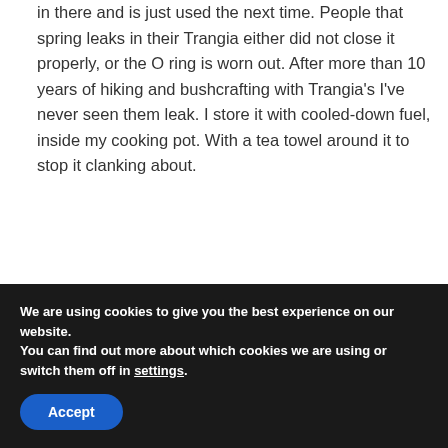in there and is just used the next time. People that spring leaks in their Trangia either did not close it properly, or the O ring is worn out. After more than 10 years of hiking and bushcrafting with Trangia's I've never seen them leak. I store it with cooled-down fuel, inside my cooking pot. With a tea towel around it to stop it clanking about.
Cheers,
Frank:
We are using cookies to give you the best experience on our website.
You can find out more about which cookies we are using or switch them off in settings.